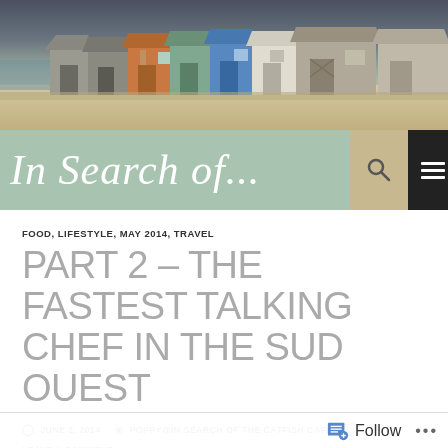[Figure (photo): Beach huts in a row on a sandy shore under a stormy dark sky. The huts are various colors: grey, orange, blue, white, green. Photo header of the blog.]
In Search of...
FOOD, LIFESTYLE, MAY 2014, TRAVEL
PART 2 – THE FASTEST TALKING CHEF IN THE SUD OUEST
JUNE 2, 2014   POPPY@IN SEARCH OF THE CATFISH CAFÉ   LEAVE A COMMENT
[Figure (photo): Bottom strip of a photo partially visible, with a blue overlay bar.]